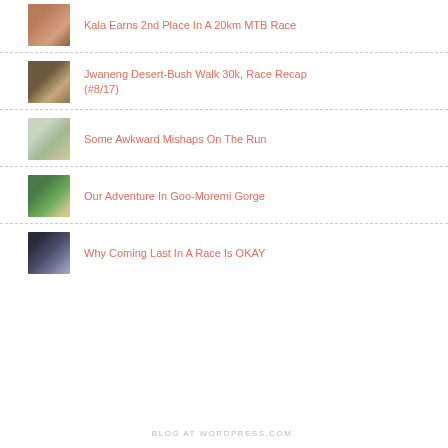Kala Earns 2nd Place In A 20km MTB Race
Jwaneng Desert-Bush Walk 30k, Race Recap (#8/17)
Some Awkward Mishaps On The Run
Our Adventure In Goo-Moremi Gorge
Why Coming Last In A Race Is OKAY
BLOG AT WORDPRESS.COM.